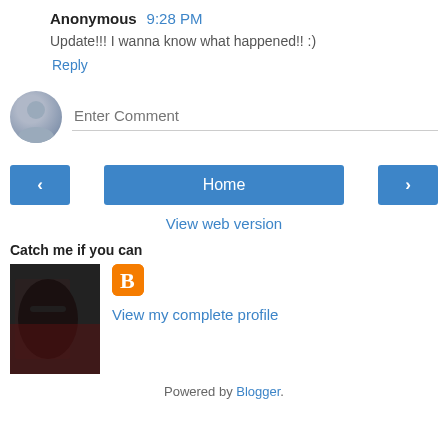Anonymous 9:28 PM
Update!!! I wanna know what happened!! :)
Reply
[Figure (illustration): Comment input area with grey avatar placeholder icon and 'Enter Comment' placeholder text input field]
[Figure (infographic): Navigation buttons: left arrow button, Home button, right arrow button]
View web version
Catch me if you can
[Figure (photo): Profile photo of a woman with glasses, dark background; Blogger icon (orange square with B)]
View my complete profile
Powered by Blogger.